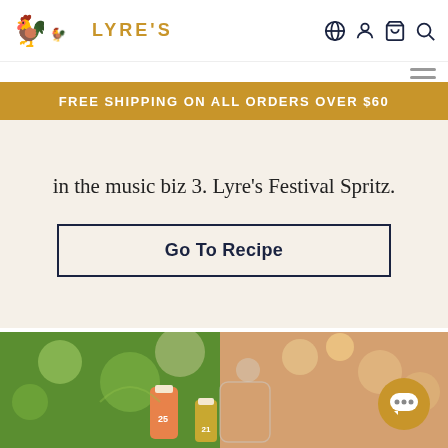LYRE'S
FREE SHIPPING ON ALL ORDERS OVER $60
in the music biz 3. Lyre's Festival Spritz.
Go To Recipe
[Figure (photo): Outdoor photo with bokeh lights, green foliage and Lyre's product bottles in foreground]